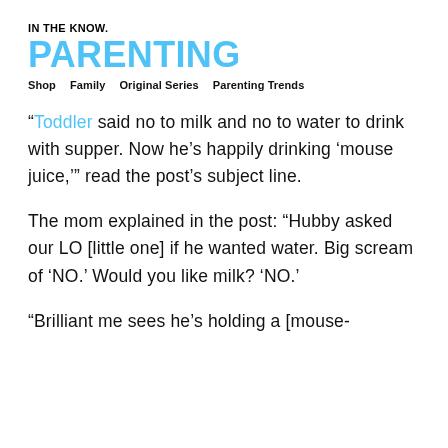IN THE KNOW. PARENTING
Shop   Family   Original Series   Parenting Trends
“Toddler said no to milk and no to water to drink with supper. Now he’s happily drinking ‘mouse juice,’” read the post’s subject line.
The mom explained in the post: “Hubby asked our LO [little one] if he wanted water. Big scream of ‘NO.’ Would you like milk? ‘NO.’
“Brilliant me sees he’s holding a [mouse-